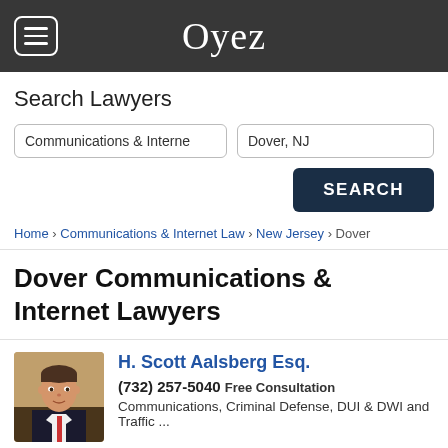Oyez
Search Lawyers
Communications & Interne | Dover, NJ
SEARCH
Home › Communications & Internet Law › New Jersey › Dover
Dover Communications & Internet Lawyers
[Figure (photo): Photo of H. Scott Aalsberg Esq.]
H. Scott Aalsberg Esq.
(732) 257-5040 Free Consultation
Communications, Criminal Defense, DUI & DWI and Traffic ...
website   profile   email